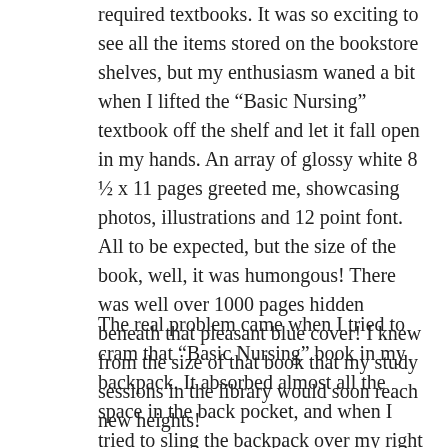required textbooks. It was so exciting to see all the items stored on the bookstore shelves, but my enthusiasm waned a bit when I lifted the “Basic Nursing” textbook off the shelf and let it fall open in my hands. An array of glossy white 8 ½ x 11 pages greeted me, showcasing photos, illustrations and 12 point font. All to be expected, but the size of the book, well, it was humongous! There was well over 1000 pages hidden beneath that pleasant blue cover! I knew from the size of that book that my study sessions in the library would soon reach new heights!
The real problem came when I tried to cram that “Basic Nursing” book in my backpack. It absorbed almost all the space in the back pocket, and when I tried to sling the backpack over my right shoulder,